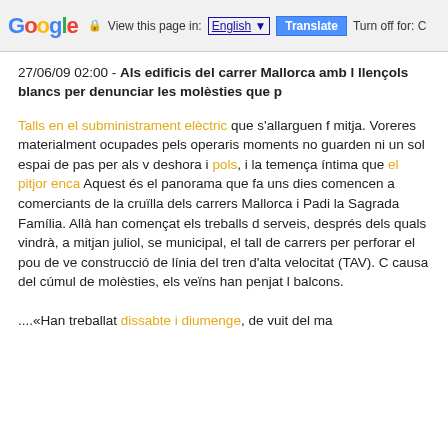Google  View this page in: English [▼]  Translate  Turn off for: C
27/06/09 02:00 - Als edificis del carrer Mallorca amb l llençols blancs per denunciar les molèsties que p
Talls en el subministrament elèctric que s'allarguen f mitja. Voreres materialment ocupades pels operaris moments no guarden ni un sol espai de pas per als v deshora i pols, i la temença íntima que el pitjor enca Aquest és el panorama que fa uns dies comencen a comerciants de la cruïlla dels carrers Mallorca i Padi la Sagrada Família. Allà han començat els treballs d serveis, després dels quals vindrà, a mitjan juliol, se municipal, el tall de carrers per perforar el pou de ve construcció de línia del tren d'alta velocitat (TAV). C causa del cúmul de molèsties, els veïns han penjat l balcons.
....«Han treballat dissabte i diumenge, de vuit del ma